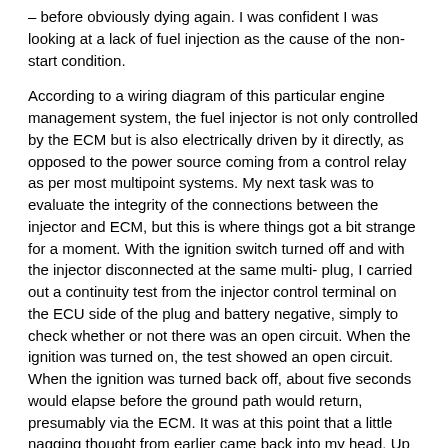– before obviously dying again. I was confident I was looking at a lack of fuel injection as the cause of the non-start condition.
According to a wiring diagram of this particular engine management system, the fuel injector is not only controlled by the ECM but is also electrically driven by it directly, as opposed to the power source coming from a control relay as per most multipoint systems. My next task was to evaluate the integrity of the connections between the injector and ECM, but this is where things got a bit strange for a moment. With the ignition switch turned off and with the injector disconnected at the same multi- plug, I carried out a continuity test from the injector control terminal on the ECU side of the plug and battery negative, simply to check whether or not there was an open circuit. When the ignition was turned on, the test showed an open circuit. When the ignition was turned back off, about five seconds would elapse before the ground path would return, presumably via the ECM. It was at this point that a little nagging thought from earlier came back into my head. Up until this point, I had not paid much attention to the fact that there had been no sign of a 'check engine' warning lamp displayed, even in a 'key on, engine off mode', which is why I needed to use the fuel pump prime as a rudimentary way of confirming ECM power up.